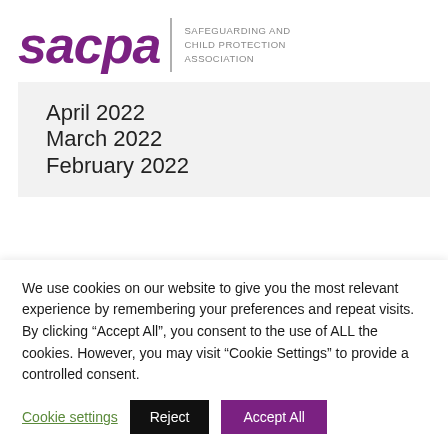[Figure (logo): SACPA logo — stylized purple italic 'sacpa' wordmark with vertical bar divider and text 'SAFEGUARDING AND CHILD PROTECTION ASSOCIATION']
April 2022
March 2022
February 2022
We use cookies on our website to give you the most relevant experience by remembering your preferences and repeat visits. By clicking “Accept All”, you consent to the use of ALL the cookies. However, you may visit “Cookie Settings” to provide a controlled consent.
Cookie settings | Reject | Accept All